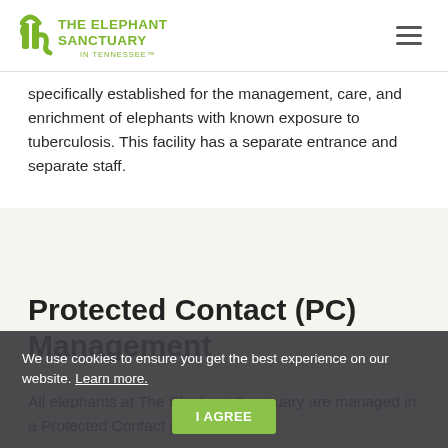The Elephant Sanctuary in Tennessee
specifically established for the management, care, and enrichment of elephants with known exposure to tuberculosis. This facility has a separate entrance and separate staff.
Protected Contact (PC) Management
All elephants at The Elephant Sanctuary are managed in a Protected Contact (PC) system.
We use cookies to ensure you get the best experience on our website. Learn more. I AGREE